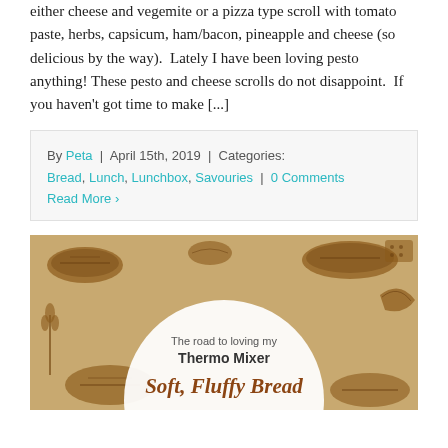either cheese and vegemite or a pizza type scroll with tomato paste, herbs, capsicum, ham/bacon, pineapple and cheese (so delicious by the way).  Lately I have been loving pesto anything! These pesto and cheese scrolls do not disappoint.  If you haven't got time to make [...]
By Peta | April 15th, 2019 | Categories: Bread, Lunch, Lunchbox, Savouries | 0 Comments
Read More ›
[Figure (illustration): Decorative bread-themed image with tan/brown background showing bread loaf illustrations and a white circle overlay containing text 'The road to loving my Thermo Mixer' and 'Soft Fluffy Bread' in cursive brown font]